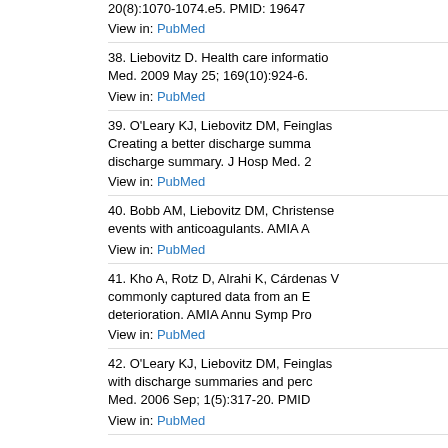20(8):1070-1074.e5. PMID: 19647... View in: PubMed
38. Liebovitz D. Health care information... Med. 2009 May 25; 169(10):924-6. View in: PubMed
39. O'Leary KJ, Liebovitz DM, Feinglas... Creating a better discharge summa... discharge summary. J Hosp Med. 2... View in: PubMed
40. Bobb AM, Liebovitz DM, Christense... events with anticoagulants. AMIA A... View in: PubMed
41. Kho A, Rotz D, Alrahi K, Cárdenas... commonly captured data from an E... deterioration. AMIA Annu Symp Pro... View in: PubMed
42. O'Leary KJ, Liebovitz DM, Feinglas... with discharge summaries and perc... Med. 2006 Sep; 1(5):317-20. PMID... View in: PubMed